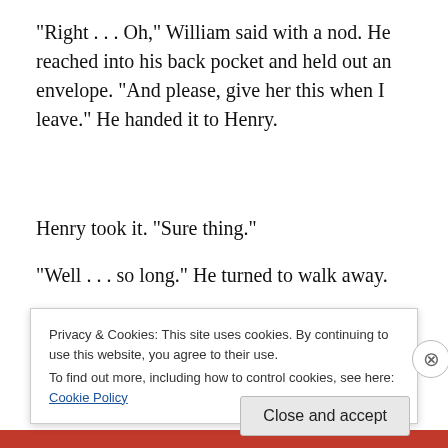“Right . . . Oh,” William said with a nod. He reached into his back pocket and held out an envelope. “And please, give her this when I leave.” He handed it to Henry.
Henry took it. “Sure thing.”
“Well . . . so long.” He turned to walk away.
Henry called out to him. “William, wait.” William met his
Privacy & Cookies: This site uses cookies. By continuing to use this website, you agree to their use.
To find out more, including how to control cookies, see here: Cookie Policy